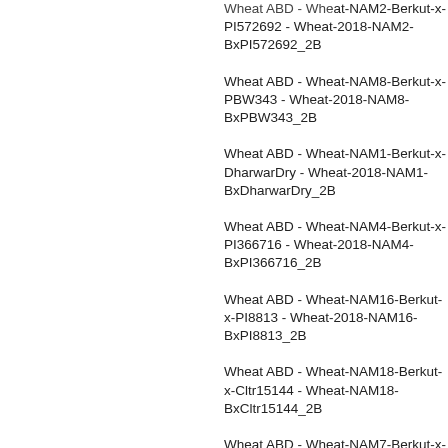Wheat ABD - Wheat-NAM2-Berkut-x-PI572692 - Wheat-2018-NAM2-BxPI572692_2B
Wheat ABD - Wheat-NAM8-Berkut-x-PBW343 - Wheat-2018-NAM8-BxPBW343_2B
Wheat ABD - Wheat-NAM1-Berkut-x-DharwarDry - Wheat-2018-NAM1-BxDharwarDry_2B
Wheat ABD - Wheat-NAM4-Berkut-x-PI366716 - Wheat-2018-NAM4-BxPI366716_2B
Wheat ABD - Wheat-NAM16-Berkut-x-PI8813 - Wheat-2018-NAM16-BxPI8813_2B
Wheat ABD - Wheat-NAM18-Berkut-x-Cltr15144 - Wheat-2018-NAM18-BxCltr15144_2B
Wheat ABD - Wheat-NAM7-Berkut-x-PI...